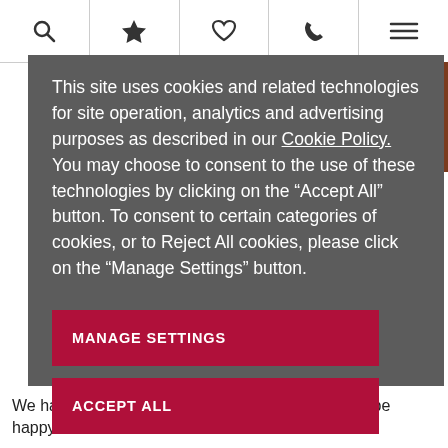[Figure (screenshot): Navigation bar with search, star/bookmark, heart/wishlist, phone, and menu icons]
This site uses cookies and related technologies for site operation, analytics and advertising purposes as described in our Cookie Policy. You may choose to consent to the use of these technologies by clicking on the “Accept All” button. To consent to certain categories of cookies, or to Reject All cookies, please click on the "Manage Settings" button.
MANAGE SETTINGS
ACCEPT ALL
We have friendly and knowledgeable staff who will be happy to